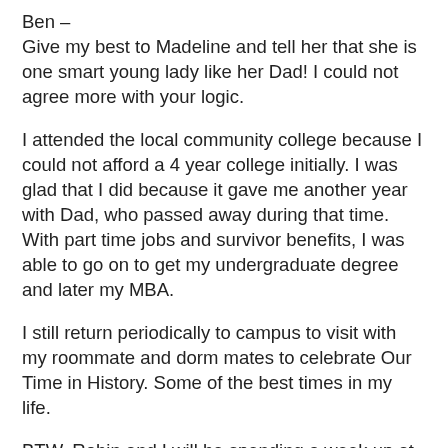Ben –
Give my best to Madeline and tell her that she is one smart young lady like her Dad! I could not agree more with your logic.
I attended the local community college because I could not afford a 4 year college initially. I was glad that I did because it gave me another year with Dad, who passed away during that time. With part time jobs and survivor benefits, I was able to go on to get my undergraduate degree and later my MBA.
I still return periodically to campus to visit with my roommate and dorm mates to celebrate Our Time in History. Some of the best times in my life.
BTW, Robin and I will be spending a week up at Treasure Lake in August and plan on visiting